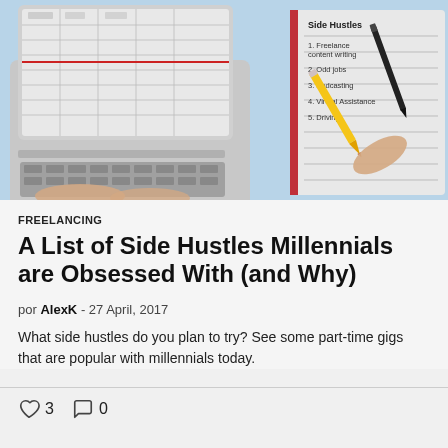[Figure (photo): Overhead photo of a person's hands on a laptop keyboard on the left side, and a notebook with a list titled 'Side Hustles' being written with a yellow pencil on the right side, on a light blue surface.]
FREELANCING
A List of Side Hustles Millennials are Obsessed With (and Why)
por AlexK - 27 April, 2017
What side hustles do you plan to try? See some part-time gigs that are popular with millennials today.